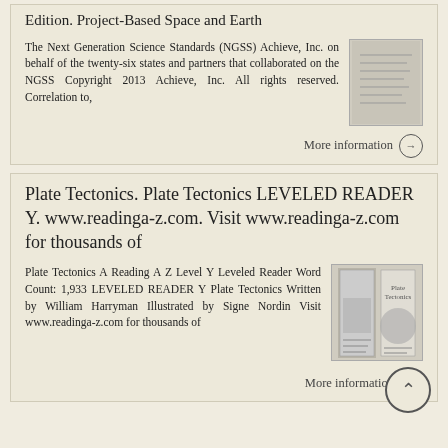Edition. Project-Based Space and Earth
The Next Generation Science Standards (NGSS) Achieve, Inc. on behalf of the twenty-six states and partners that collaborated on the NGSS Copyright 2013 Achieve, Inc. All rights reserved. Correlation to,
[Figure (photo): Thumbnail image of a document/book cover]
More information →
Plate Tectonics. Plate Tectonics LEVELED READER Y. www.readinga-z.com. Visit www.readinga-z.com for thousands of
Plate Tectonics A Reading A Z Level Y Leveled Reader Word Count: 1,933 LEVELED READER Y Plate Tectonics Written by William Harryman Illustrated by Signe Nordin Visit www.readinga-z.com for thousands of
[Figure (photo): Thumbnail images of two Plate Tectonics book covers]
More information →